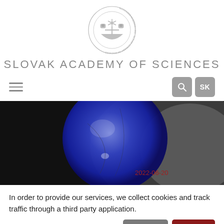[Figure (logo): Slovak Academy of Sciences circular emblem with floral/botanical motif, gray tones]
SLOVAK ACADEMY OF SCIENCES
[Figure (photo): Dark background with a blue reflective sphere/balloon object, partially visible, with date 2022-06-20 overlaid in red text]
In order to provide our services, we collect cookies and track traffic through a third party application.
More options
Decline
Accept